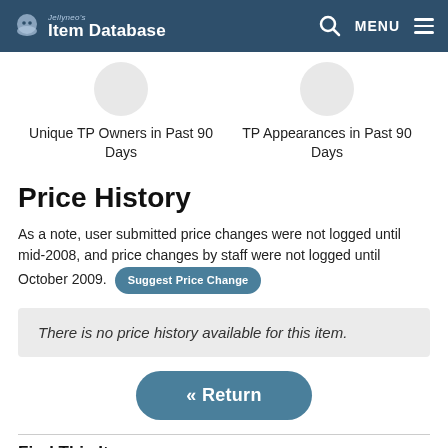Jellyneo's Item Database
Unique TP Owners in Past 90 Days
TP Appearances in Past 90 Days
Price History
As a note, user submitted price changes were not logged until mid-2008, and price changes by staff were not logged until October 2009. Suggest Price Change
There is no price history available for this item.
« Return
Find This Item